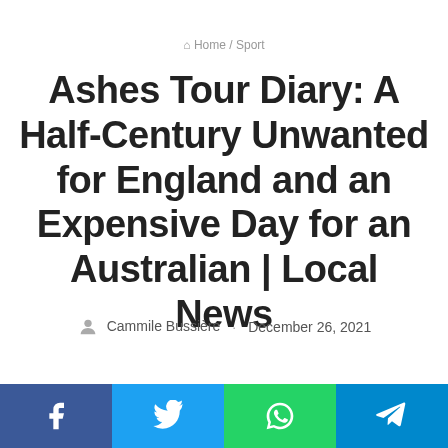Home / Sport
Ashes Tour Diary: A Half-Century Unwanted for England and an Expensive Day for an Australian | Local News
Cammile Bussière · December 26, 2021
[Figure (other): Social sharing bar with Facebook, Twitter, WhatsApp, and Telegram buttons]